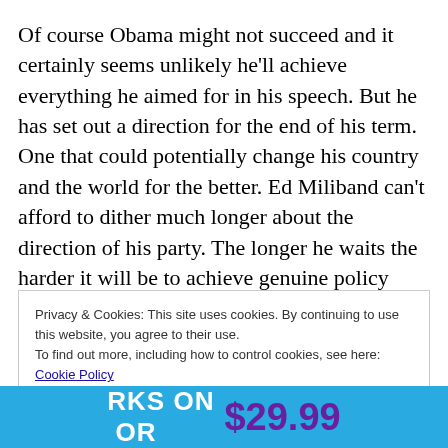Of course Obama might not succeed and it certainly seems unlikely he'll achieve everything he aimed for in his speech. But he has set out a direction for the end of his term. One that could potentially change his country and the world for the better. Ed Miliband can't afford to dither much longer about the direction of his party. The longer he waits the harder it will be to achieve genuine policy goals he has long committed to, like a banking bonus tax, a solution to tuition fees and investment instead of cuts. Sell
Privacy & Cookies: This site uses cookies. By continuing to use this website, you agree to their use.
To find out more, including how to control cookies, see here: Cookie Policy
[Figure (other): Advertisement banner with blue background showing price $29.99 in purple text]